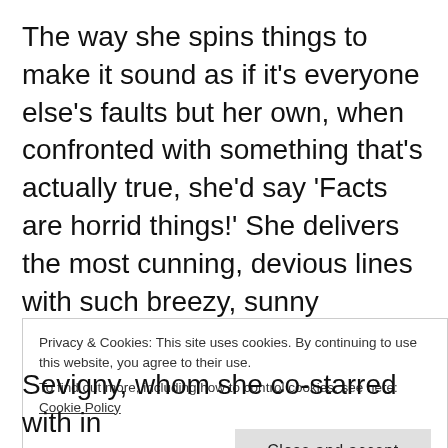The way she spins things to make it sound as if it's everyone else's faults but her own, when confronted with something that's actually true, she'd say 'Facts are horrid things!' She delivers the most cunning, devious lines with such breezy, sunny disposition that'd charm the wits out of you. I'd say she's utterly bewitching in this role, which is a welcome change considering I haven't been impressed by anything she's done lately. This is the
Privacy & Cookies: This site uses cookies. By continuing to use this website, you agree to their use.
To find out more, including how to control cookies, see here: Cookie Policy
Sevigny, whom she co-starred with in